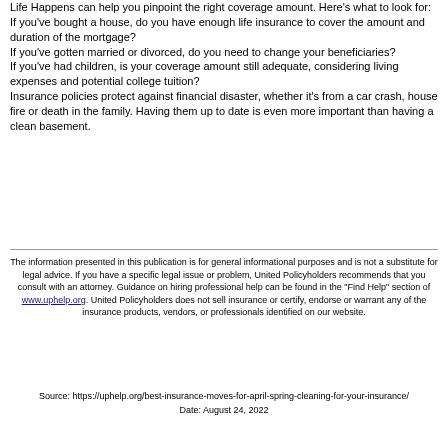Life Happens can help you pinpoint the right coverage amount. Here's what to look for: If you've bought a house, do you have enough life insurance to cover the amount and duration of the mortgage? If you've gotten married or divorced, do you need to change your beneficiaries? If you've had children, is your coverage amount still adequate, considering living expenses and potential college tuition? Insurance policies protect against financial disaster, whether it's from a car crash, house fire or death in the family. Having them up to date is even more important than having a clean basement.
The information presented in this publication is for general informational purposes and is not a substitute for legal advice. If you have a specific legal issue or problem, United Policyholders recommends that you consult with an attorney. Guidance on hiring professional help can be found in the "Find Help" section of www.uphelp.org. United Policyholders does not sell insurance or certify, endorse or warrant any of the insurance products, vendors, or professionals identified on our website.
Source: https://uphelp.org/best-insurance-moves-for-april-spring-cleaning-for-your-insurance/ Date: August 24, 2022